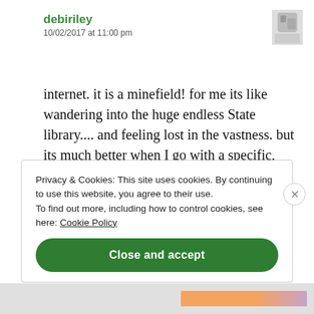debiriley
10/02/2017 at 11:00 pm
internet. it is a minefield! for me its like wandering into the huge endless State library.... and feeling lost in the vastness. but its much better when I go with a specific, narrow, target to search for on that day. I did not begin...my painting life in abstracts. it slowly emerged. evolved. as i used my camera also to snap
Privacy & Cookies: This site uses cookies. By continuing to use this website, you agree to their use.
To find out more, including how to control cookies, see here: Cookie Policy
Close and accept